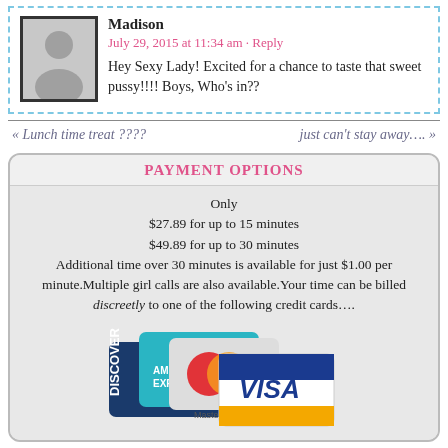Madison
July 29, 2015 at 11:34 am · Reply
Hey Sexy Lady! Excited for a chance to taste that sweet pussy!!!! Boys, Who's in??
« Lunch time treat ????
just can't stay away…. »
PAYMENT OPTIONS
Only
$27.89 for up to 15 minutes
$49.89 for up to 30 minutes
Additional time over 30 minutes is available for just $1.00 per minute.Multiple girl calls are also available.Your time can be billed discreetly to one of the following credit cards….
[Figure (illustration): Credit card logos: Discover, American Express, Mastercard, Visa]